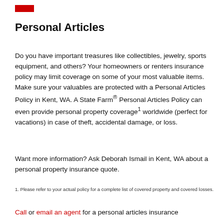Personal Articles
Do you have important treasures like collectibles, jewelry, sports equipment, and others? Your homeowners or renters insurance policy may limit coverage on some of your most valuable items. Make sure your valuables are protected with a Personal Articles Policy in Kent, WA. A State Farm® Personal Articles Policy can even provide personal property coverage¹ worldwide (perfect for vacations) in case of theft, accidental damage, or loss.
Want more information? Ask Deborah Ismail in Kent, WA about a personal property insurance quote.
1. Please refer to your actual policy for a complete list of covered property and covered losses.
Call or email an agent for a personal articles insurance